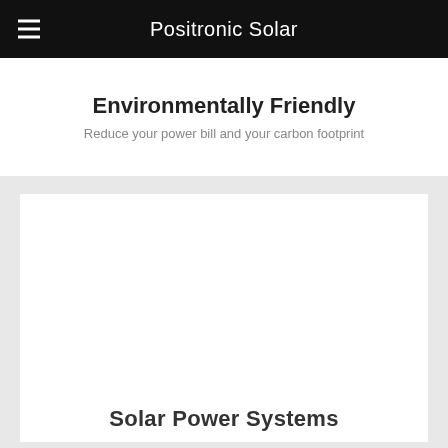Positronic Solar
Environmentally Friendly
Reduce your power bill and your carbon footprint
[Figure (other): White card panel on gray background with partial text 'Solar Power Systems' visible at the bottom]